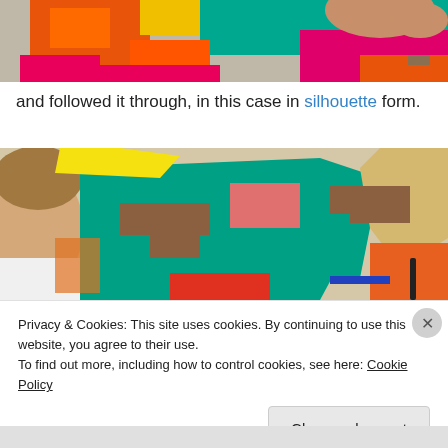[Figure (photo): Photo showing colorful paper cutouts (orange, pink, yellow, teal) being arranged by hands on a table, partial view from top, cropped at top of page.]
and followed it through, in this case in silhouette form.
[Figure (photo): Photo of a child looking at colorful paper silhouette cutouts on a table — teal, brown, orange, yellow, pink papers arranged in shapes.]
Privacy & Cookies: This site uses cookies. By continuing to use this website, you agree to their use.
To find out more, including how to control cookies, see here: Cookie Policy
Close and accept